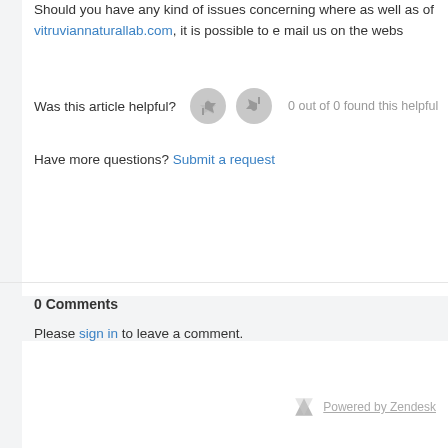Should you have any kind of issues concerning where as well as of vitruviannaturallab.com, it is possible to e mail us on the webs
Was this article helpful? 0 out of 0 found this helpful
Have more questions? Submit a request
0 Comments
Please sign in to leave a comment.
Powered by Zendesk